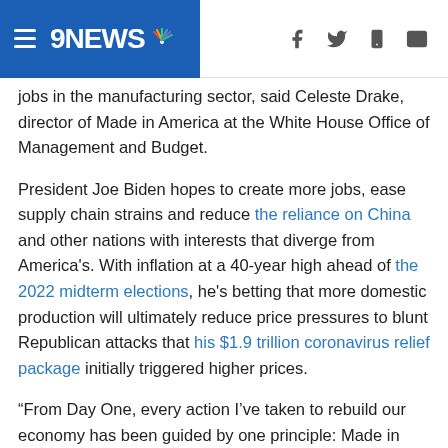9NEWS
jobs in the manufacturing sector, said Celeste Drake, director of Made in America at the White House Office of Management and Budget.
President Joe Biden hopes to create more jobs, ease supply chain strains and reduce the reliance on China and other nations with interests that diverge from America's. With inflation at a 40-year high ahead of the 2022 midterm elections, he's betting that more domestic production will ultimately reduce price pressures to blunt Republican attacks that his $1.9 trillion coronavirus relief package initially triggered higher prices.
“From Day One, every action I’ve taken to rebuild our economy has been guided by one principle: Made in America,” Biden said Thursday in Greensboro, North Carolina. “It takes a federal government that doesn’t just give lip service to buying American but actually takes action.”